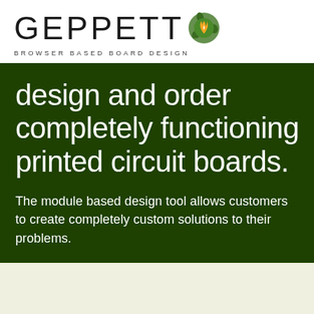[Figure (logo): Geppetto logo: large sans-serif letters 'GEPPETT' followed by a circular green leaf/flame icon, with tagline 'BROWSER BASED BOARD DESIGN' below in spaced caps]
design and order completely functioning printed circuit boards.
The module based design tool allows customers to create completely custom solutions to their problems.